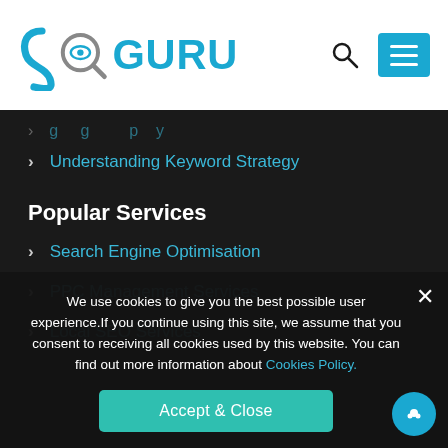[Figure (logo): SEO GURU logo with stylized S and eye/magnifier icon in blue]
Understanding Keyword Strategy
Popular Services
Search Engine Optimisation
PPC Management Services
Local SEO Services
We use cookies to give you the best possible user experience.If you continue using this site, we assume that you consent to receiving all cookies used by this website. You can find out more information about Cookies Policy.
Accept & Close